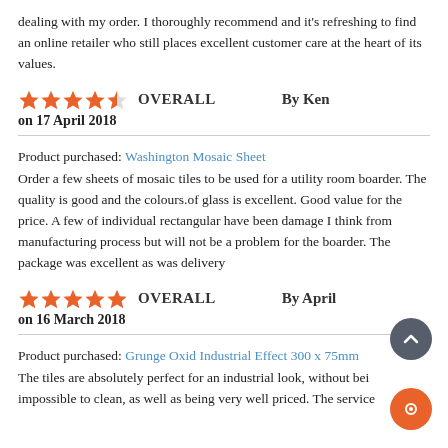dealing with my order. I thoroughly recommend and it's refreshing to find an online retailer who still places excellent customer care at the heart of its values.
★★★★½ OVERALL   By Ken
on 17 April 2018
Product purchased: Washington Mosaic Sheet
Order a few sheets of mosaic tiles to be used for a utility room boarder. The quality is good and the colours.of glass is excellent. Good value for the price. A few of individual rectangular have been damage I think from manufacturing process but will not be a problem for the boarder. The package was excellent as was delivery
★★★★★ OVERALL   By April
on 16 March 2018
Product purchased: Grunge Oxid Industrial Effect 300 x 75mm
The tiles are absolutely perfect for an industrial look, without being impossible to clean, as well as being very well priced. The service